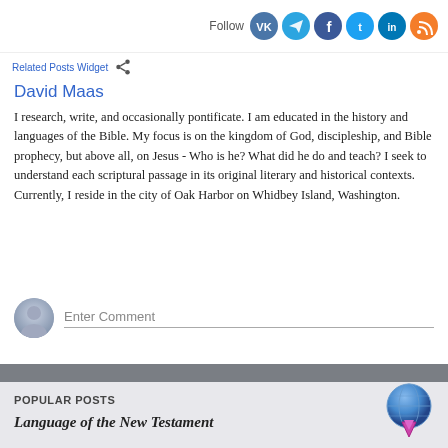Follow [social icons: VK, Telegram, Facebook, Twitter, LinkedIn, RSS]
Related Posts Widget [share icon]
David Maas
I research, write, and occasionally pontificate. I am educated in the history and languages of the Bible. My focus is on the kingdom of God, discipleship, and Bible prophecy, but above all, on Jesus - Who is he? What did he do and teach? I seek to understand each scriptural passage in its original literary and historical contexts. Currently, I reside in the city of Oak Harbor on Whidbey Island, Washington.
Enter Comment
POPULAR POSTS
Language of the New Testament